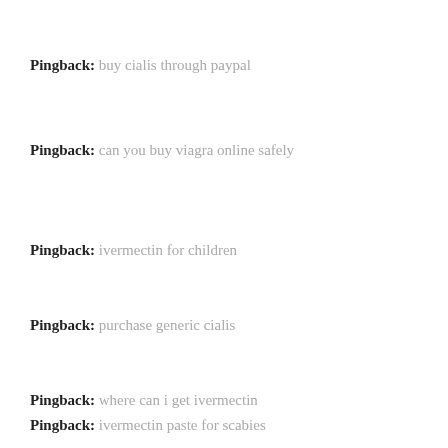Pingback: buy cialis through paypal
Pingback: can you buy viagra online safely
Pingback: ivermectin for children
Pingback: purchase generic cialis
Pingback: where can i get ivermectin
Pingback: ivermectin paste for scabies